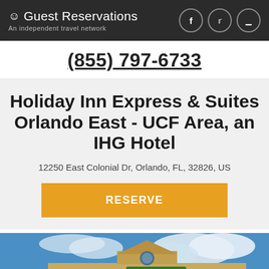Guest Reservations — An independent travel network
(855) 797-6733
Holiday Inn Express & Suites Orlando East - UCF Area, an IHG Hotel
12250 East Colonial Dr, Orlando, FL, 32826, US
RESERVE
[Figure (photo): Exterior photo of Holiday Inn Express & Suites hotel building with blue sky and clouds in background, showing the hotel's beige facade with the Holiday Inn Express logo sign]